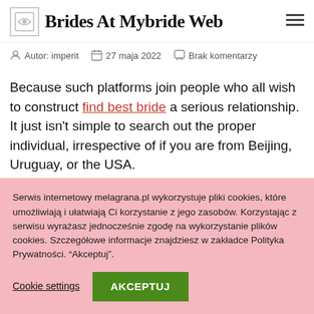Brides At Mybride Web
Autor: imperit   27 maja 2022   Brak komentarzy
Because such platforms join people who all wish to construct find best bride a serious relationship. It just isn't simple to search out the proper individual, irrespective of if you are from Beijing, Uruguay, or the USA. We...
Serwis internetowy melagrana.pl wykorzystuje pliki cookies, które umożliwiają i ułatwiają Ci korzystanie z jego zasobów. Korzystając z serwisu wyrażasz jednocześnie zgodę na wykorzystanie plików cookies. Szczegółowe informacje znajdziesz w zakładce Polityka Prywatności. "Akceptuj".
Cookie settings   AKCEPTUJ